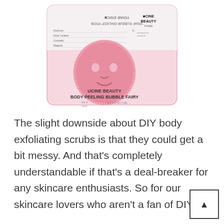[Figure (photo): Product image of UCINE BEAUTY BODY PEELING BUBBLE FAIRY — a pink face-shaped sponge/bubble pad in a white packaging with Korean and English text labels.]
The slight downside about DIY body exfoliating scrubs is that they could get a bit messy. And that's completely understandable if that's a deal-breaker for any skincare enthusiasts. So for our skincare lovers who aren't a fan of DIY's